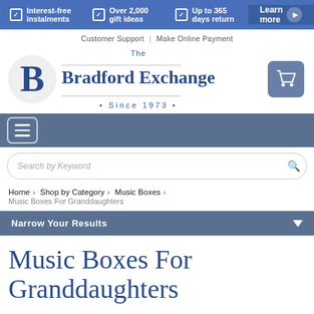[Figure (screenshot): Bradford Exchange website header banner with blue background showing: Interest-free instalments, Over 2,000 gift ideas, Up to 365 days return, and Learn more button]
Customer Support | Make Online Payment
[Figure (logo): The Bradford Exchange logo with stylized B letter and text: The Bradford Exchange Since 1973]
[Figure (screenshot): Navigation bar with hamburger menu icon]
Search by Keyword
Home > Shop by Category > Music Boxes > Music Boxes For Granddaughters
Narrow Your Results
Music Boxes For Granddaughters